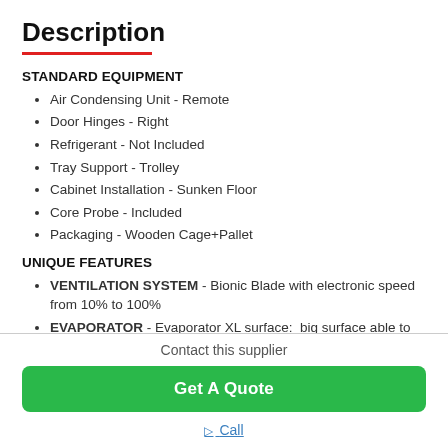Description
STANDARD EQUIPMENT
Air Condensing Unit - Remote
Door Hinges - Right
Refrigerant - Not Included
Tray Support - Trolley
Cabinet Installation - Sunken Floor
Core Probe - Included
Packaging - Wooden Cage+Pallet
UNIQUE FEATURES
VENTILATION SYSTEM - Bionic Blade with electronic speed from 10% to 100%
EVAPORATOR - Evaporator XL surface:  big surface able to quickly remove the heat
Contact this supplier
Get A Quote
Call